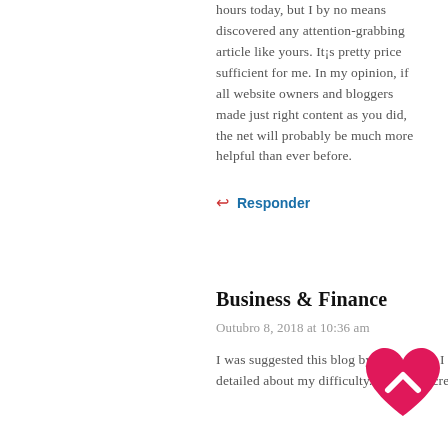hours today, but I by no means discovered any attention-grabbing article like yours. It¡s pretty price sufficient for me. In my opinion, if all website owners and bloggers made just right content as you did, the net will probably be much more helpful than ever before.
↩ Responder
Business & Finance
Outubro 8, 2018 at 10:36 am
I was suggested this blog by my cousin. I am not sure whether this post is written by him as no one else know such detailed about my difficulty. You are incredible! Thanks!
[Figure (illustration): Red heart-shaped back-to-top button with a white upward chevron arrow]